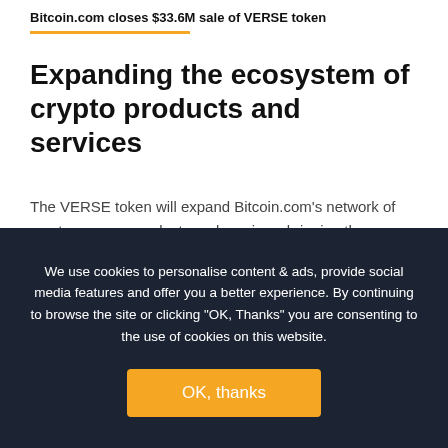Bitcoin.com closes $33.6M sale of VERSE token
Expanding the ecosystem of crypto products and services
The VERSE token will expand Bitcoin.com's network of cryptocurrency products and services, bringing the rewards and utility of the token closer to everyday people.
Dennis Jarvis, Bitcoin.com CEO commented:
Since 2015, Bitcoin.com has been a leader in introducing newcomers to crypto and guiding them along their crypto journey. So far we've built an incredible portfolio of products and services
We use cookies to personalise content & ads, provide social media features and offer you a better experience. By continuing to browse the site or clicking "OK, Thanks" you are consenting to the use of cookies on this website.